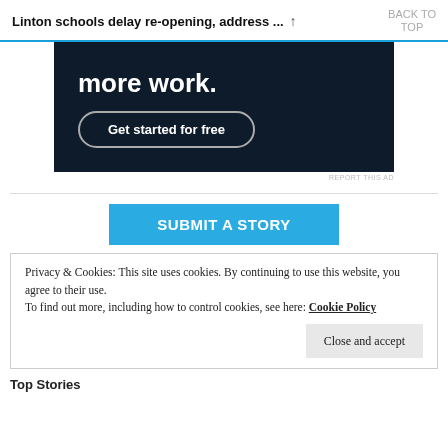Linton schools delay re-opening, address ... ↑ BACK TO TOP
[Figure (screenshot): Dark navy advertisement banner with bold white text 'more work.' and a rounded border button labeled 'Get started for free']
REPORT THIS AD
SUBMIT A STORY
Privacy & Cookies: This site uses cookies. By continuing to use this website, you agree to their use.
To find out more, including how to control cookies, see here: Cookie Policy
Close and accept
Top Stories